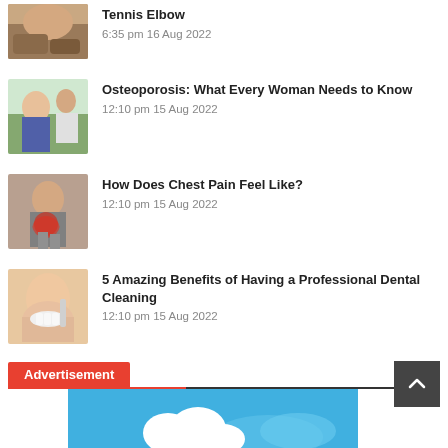[Figure (photo): Tennis elbow article thumbnail - person holding elbow in pain]
Tennis Elbow
6:35 pm 16 Aug 2022
[Figure (photo): Osteoporosis article thumbnail - woman with back pain]
Osteoporosis: What Every Woman Needs to Know
12:10 pm 15 Aug 2022
[Figure (photo): Chest pain article thumbnail - person clutching chest]
How Does Chest Pain Feel Like?
12:10 pm 15 Aug 2022
[Figure (photo): Dental cleaning article thumbnail - child at dentist]
5 Amazing Benefits of Having a Professional Dental Cleaning
12:10 pm 15 Aug 2022
Advertisement
[Figure (illustration): Advertisement banner with blue sky and cloud illustration]